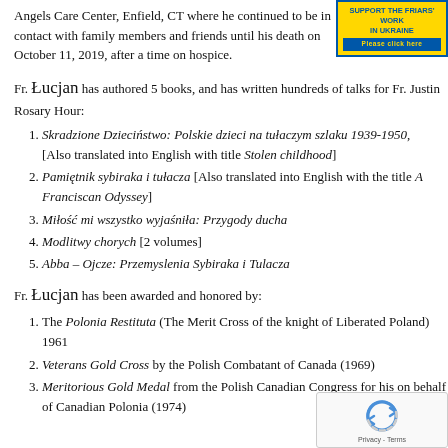Angels Care Center, Enfield, CT where he continued to be in contact with family members and friends until his death on October 11, 2019, after a time on hospice.
[Figure (infographic): Blue and yellow banner: 'SUPPORT THE FRIARS' WORK IN UKRAINE Please click here']
Fr. Łucjan has authored 5 books, and has written hundreds of talks for Fr. Justin Rosary Hour:
Skradzione Dzieciństwo: Polskie dzieci na tułaczym szlaku 1939-1950, [Also translated into English with title Stolen childhood]
Pamiętnik sybiraka i tułacza [Also translated into English with the title A Franciscan Odyssey]
Miłość mi wszystko wyjaśniła: Przygody ducha
Modlitwy chorych [2 volumes]
Abba – Ojcze: Przemyslenia Sybiraka i Tulacza
Fr. Łucjan has been awarded and honored by:
The Polonia Restituta (The Merit Cross of the knight of Liberated Poland) 1961
Veterans Gold Cross by the Polish Combatant of Canada (1969)
Meritorious Gold Medal from the Polish Canadian Congress for his... on behalf of Canadian Polonia (1974)